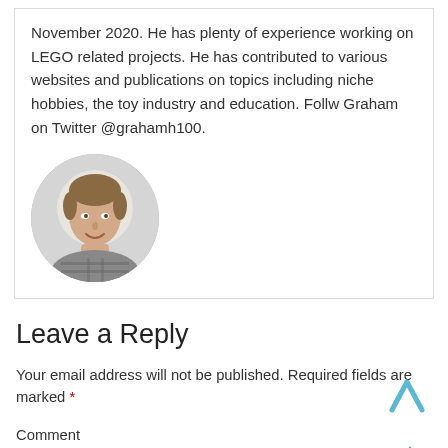November 2020. He has plenty of experience working on LEGO related projects. He has contributed to various websites and publications on topics including niche hobbies, the toy industry and education. Follw Graham on Twitter @grahamh100.
[Figure (photo): Circular profile photo of a young man with light brown hair wearing a plaid shirt, smiling, on a white background]
Leave a Reply
Your email address will not be published. Required fields are marked *
Comment